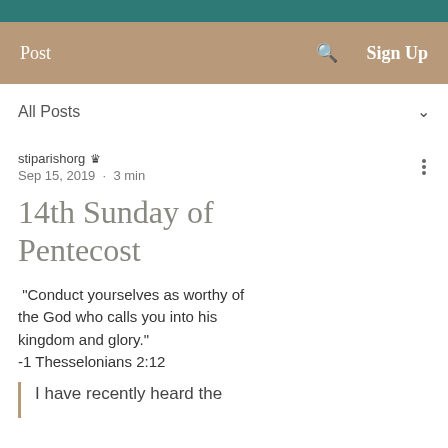Post  Search  Sign Up
All Posts
stiparishorg  Sep 15, 2019 · 3 min
14th Sunday of Pentecost
"Conduct yourselves as worthy of the God who calls you into his kingdom and glory."
-1 Thesselonians 2:12
I have recently heard the